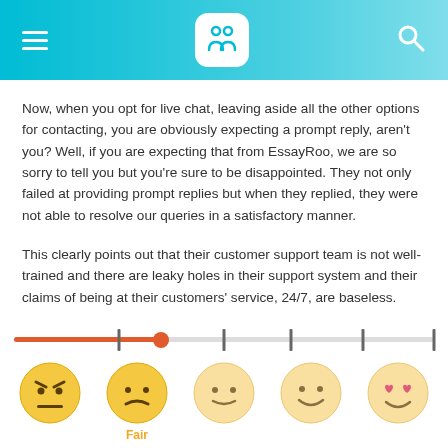Navigation header with hamburger menu, logo icon, and search icon
Now, when you opt for live chat, leaving aside all the other options for contacting, you are obviously expecting a prompt reply, aren't you? Well, if you are expecting that from EssayRoo, we are so sorry to tell you but you're sure to be disappointed. They not only failed at providing prompt replies but when they replied, they were not able to resolve our queries in a satisfactory manner.
This clearly points out that their customer support team is not well-trained and there are leaky holes in their support system and their claims of being at their customers' service, 24/7, are baseless.
[Figure (infographic): Rating slider with an orange/red fill showing approximately 2/5 rating, with 5 tick marks. Below are 5 emoji faces ranging from angry (dark orange, selected area) to very happy with heart eyes, with 'Fair' label visible under the second emoji.]